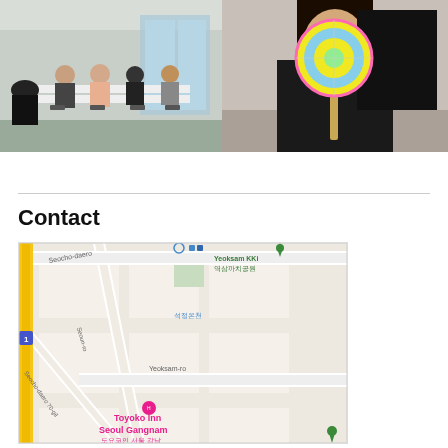[Figure (photo): Two photos side by side: left shows a group of people sitting around a table in a classroom/meeting room with large windows; right shows a person holding a decorative fan with colorful circular design.]
Contact
[Figure (map): Google Maps screenshot showing area around Toyoko Inn Seoul Gangnam in Seoul, Korea. Streets visible include Seocho-daero, Seoun-ro, Seocho-daero 70-gil, Yeoksam-ro. Korean landmarks include 역삼까치공원 (Yeoksam Kki park), 석정온천. Toyoko Inn Seoul Gangnam (도요코인 서울 강남) marked with pink hotel icon.]